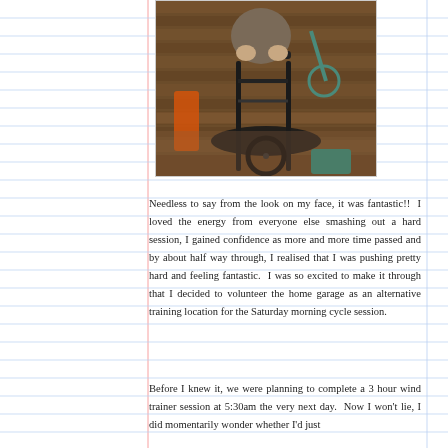[Figure (photo): Person working on a road bicycle on a wooden deck/floor, hands on the handlebars, bicycle trainer visible in the background]
Needless to say from the look on my face, it was fantastic!!  I loved the energy from everyone else smashing out a hard session, I gained confidence as more and more time passed and by about half way through, I realised that I was pushing pretty hard and feeling fantastic.  I was so excited to make it through that I decided to volunteer the home garage as an alternative training location for the Saturday morning cycle session.
Before I knew it, we were planning to complete a 3 hour wind trainer session at 5:30am the very next day.  Now I won't lie, I did momentarily wonder whether I'd just committed h...